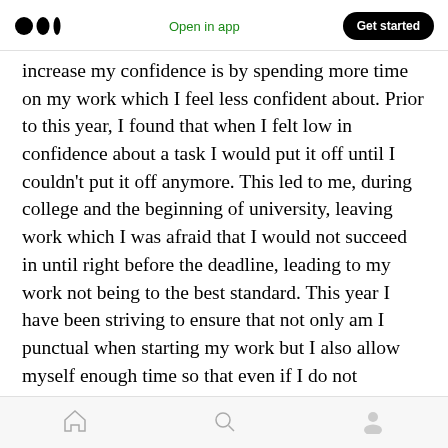Medium logo | Open in app | Get started
increase my confidence is by spending more time on my work which I feel less confident about. Prior to this year, I found that when I felt low in confidence about a task I would put it off until I couldn't put it off anymore. This led to me, during college and the beginning of university, leaving work which I was afraid that I would not succeed in until right before the deadline, leading to my work not being to the best standard. This year I have been striving to ensure that not only am I punctual when starting my work but I also allow myself enough time so that even if I do not
Home | Search | Profile